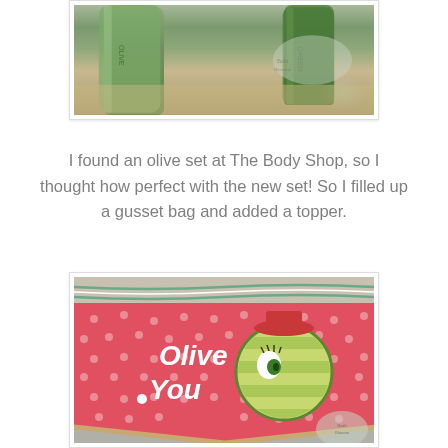[Figure (photo): Photo of olive-themed body shop products in green bottles on a stone surface, with a watermark logo in the bottom right corner]
I found an olive set at The Body Shop, so I thought how perfect with the new set! So I filled up a gusset bag and added a topper.
[Figure (photo): Photo of a red polka-dot banner bag topper with the words 'Olive You' in white lettering and a circular olive character illustration, tied with green and white baker's twine, with olives visible below, and a watermark logo in the corner]